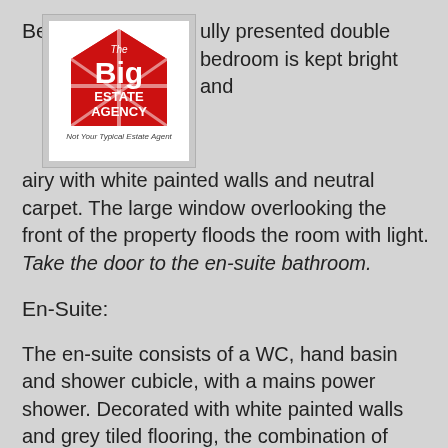[Figure (logo): The Big Estate Agency logo — red and white house/shield shape with bold 'Big' text and 'ESTATE AGENCY' text below, with tagline 'Not Your Typical Estate Agent']
This beautifully presented double bedroom is kept bright and airy with white painted walls and neutral carpet. The large window overlooking the front of the property floods the room with light. Take the door to the en-suite bathroom.
En-Suite:
The en-suite consists of a WC, hand basin and shower cubicle, with a mains power shower. Decorated with white painted walls and grey tiled flooring, the combination of white and blue mosaic tiles works perfectly.
Bedroom 2:
This second double bedroom is situated at the rear of the